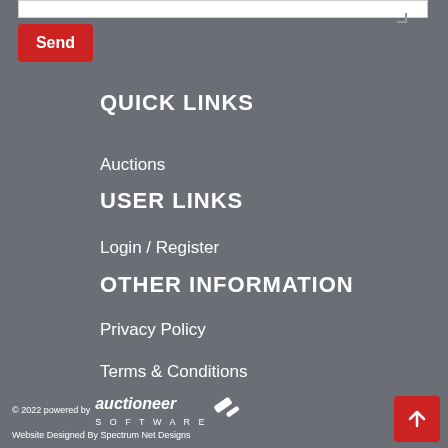[Send button]
QUICK LINKS
Auctions
USER LINKS
Login / Register
OTHER INFORMATION
Privacy Policy
Terms & Conditions
© 2022 powered by auctioneer SOFTWARE
Website Designed By Spectrum Net Designs